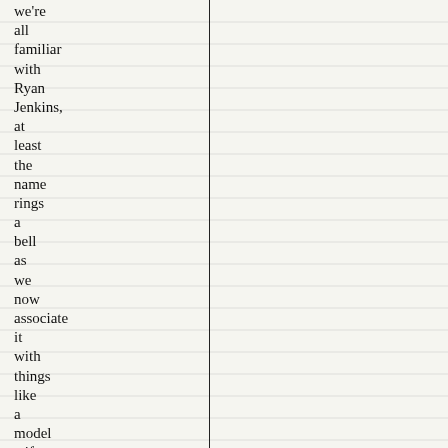we're all familiar with Ryan Jenkins, at least the name rings a bell as we now associate it with things like a model wife, body